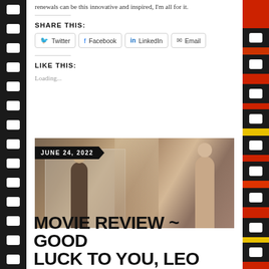renewals can be this innovative and inspired, I'm all for it.
SHARE THIS:
Twitter  Facebook  LinkedIn  Email
LIKE THIS:
Loading...
[Figure (photo): Scene from a movie showing two people in an intimate setting, viewed from behind in a mirror reflection. A date badge reads JUNE 24, 2022.]
MOVIE REVIEW ~ GOOD LUCK TO YOU, LEO